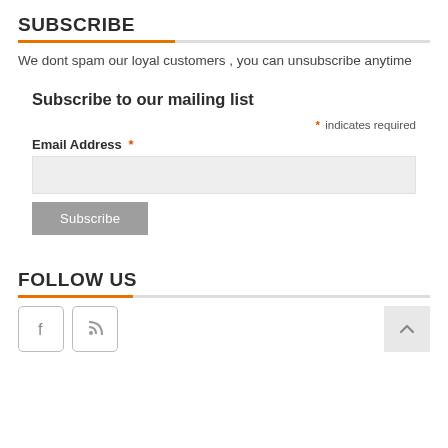SUBSCRIBE
We dont spam our loyal customers , you can unsubscribe anytime
Subscribe to our mailing list
* indicates required
Email Address *
FOLLOW US
[Figure (other): Facebook and RSS feed social media icons with square borders]